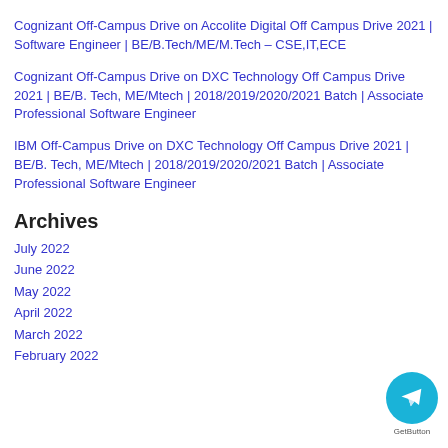Cognizant Off-Campus Drive on Accolite Digital Off Campus Drive 2021 | Software Engineer | BE/B.Tech/ME/M.Tech – CSE,IT,ECE
Cognizant Off-Campus Drive on DXC Technology Off Campus Drive 2021 | BE/B. Tech, ME/Mtech | 2018/2019/2020/2021 Batch | Associate Professional Software Engineer
IBM Off-Campus Drive on DXC Technology Off Campus Drive 2021 | BE/B. Tech, ME/Mtech | 2018/2019/2020/2021 Batch | Associate Professional Software Engineer
Archives
July 2022
June 2022
May 2022
April 2022
March 2022
February 2022